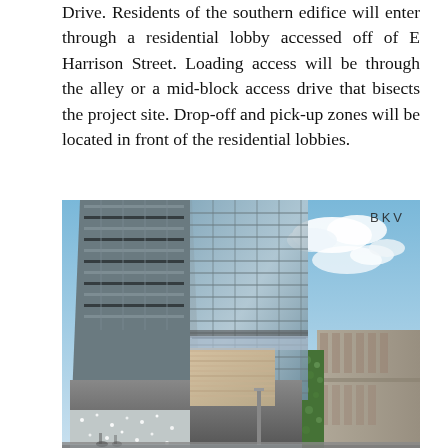Drive. Residents of the southern edifice will enter through a residential lobby accessed off of E Harrison Street. Loading access will be through the alley or a mid-block access drive that bisects the project site. Drop-off and pick-up zones will be located in front of the residential lobbies.
[Figure (illustration): Architectural rendering of a modern high-rise building with glass facade, showing a street-level perspective. The building features floor-to-ceiling glass curtain walls, a podium base with decorative mosaic or stone cladding, and a blue sky with clouds in the background. A lower adjacent building is visible to the right. The BKV logo/watermark appears in the upper right corner.]